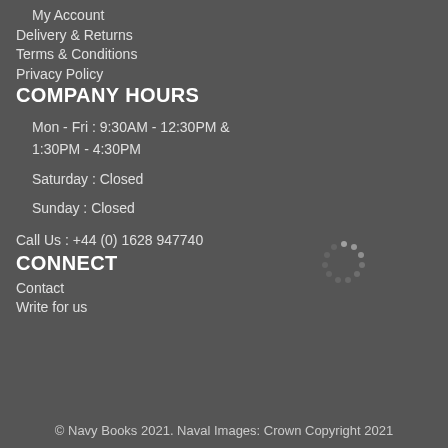My Account
Delivery & Returns
Terms & Conditions
Privacy Policy
COMPANY HOURS
Mon - Fri : 9:30AM - 12:30PM &
1:30PM - 4:30PM
Saturday : Closed
Sunday : Closed
Call Us : +44 (0) 1628 947740
CONNECT
Contact
Write for us
[Figure (other): Loading spinner graphic — circular arrangement of dots in a ring pattern]
© Navy Books 2021. Naval Images: Crown Copyright 2021